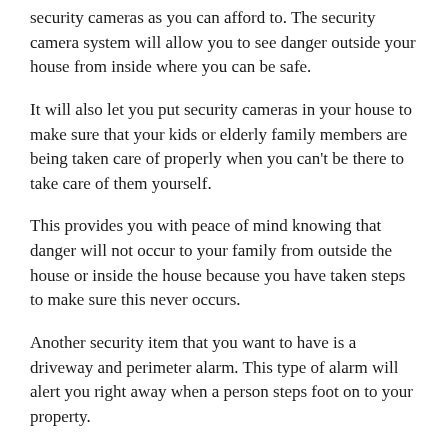security cameras as you can afford to. The security camera system will allow you to see danger outside your house from inside where you can be safe.
It will also let you put security cameras in your house to make sure that your kids or elderly family members are being taken care of properly when you can't be there to take care of them yourself.
This provides you with peace of mind knowing that danger will not occur to your family from outside the house or inside the house because you have taken steps to make sure this never occurs.
Another security item that you want to have is a driveway and perimeter alarm. This type of alarm will alert you right away when a person steps foot on to your property.